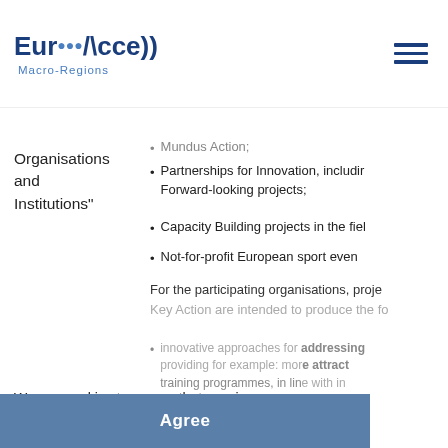EuroAccess Macro-Regions
Organisations and Institutions"
Mundus Action;
Partnerships for Innovation, including Forward-looking projects;
Capacity Building projects in the field
Not-for-profit European sport event
For the participating organisations, project Key Action are intended to produce the fo
innovative approaches for addressing providing for example: more attractive training programmes, in line with in expectations; use of participatory ap methodologies, new or improved pro and validation of competences; grea activities for the benefit of local con Improved practices to cater for the n with fewer opportunities and to deal learning outcomes linked to the go
We use cookies to ensure that we give you the best experience on our website. If you continue without changing your settings, we'll assume that you are happy to receive all cookies on the website. More information
Agree